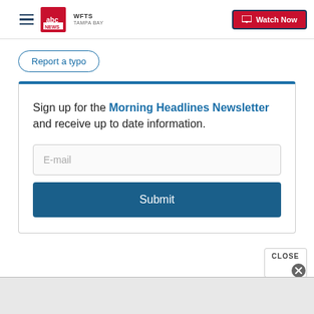WFTS Tampa Bay — Watch Now
Report a typo
Sign up for the Morning Headlines Newsletter and receive up to date information.
E-mail
Submit
CLOSE